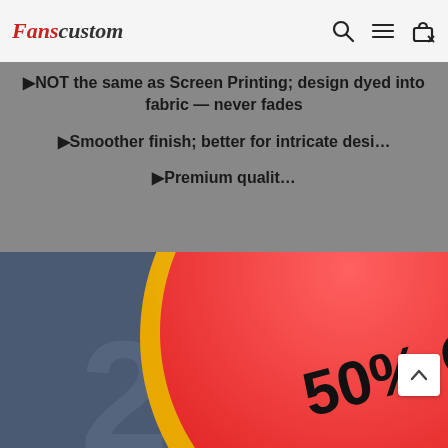Fanscustom
▶NOT the same as Screen Printing; design dyed into fabric — never fades
▶Smoother finish; better for intricate designs
▶Premium quality
[Figure (photo): Promotional image showing a custom jersey/sports garment with a large 50% OFF badge overlay in red and yellow, with a secondary 50 badge in orange. Background shows partial view of jersey with number 2 logo.]